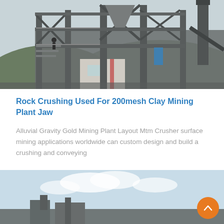[Figure (photo): Industrial rock crushing plant facility — multi-story steel structure with conveyors, hoppers, and processing equipment on a hillside]
Rock Crushing Used For 200mesh Clay Mining Plant Jaw
Alluvial Gravity Gold Mining Plant Layout Mtm Crusher surface mining applications worldwide can custom design and build a crushing and conveying
[Figure (photo): Another industrial mining or crushing plant, partially visible at bottom of page, showing equipment against a sky background]